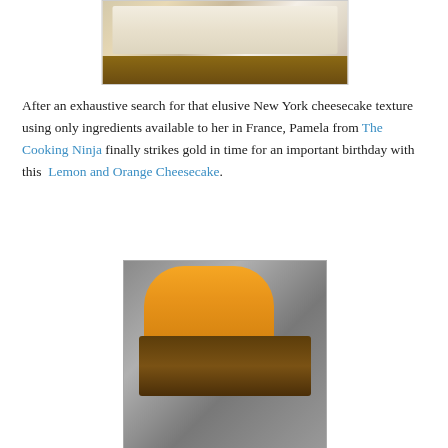[Figure (photo): Slice of white New York cheesecake on a white plate with a pink flower in the background]
After an exhaustive search for that elusive New York cheesecake texture using only ingredients available to her in France, Pamela from The Cooking Ninja finally strikes gold in time for an important birthday with this  Lemon and Orange Cheesecake.
[Figure (photo): Slice of cheesecake topped with mandarin orange segments on a dark slate surface with a fork and orange in the background]